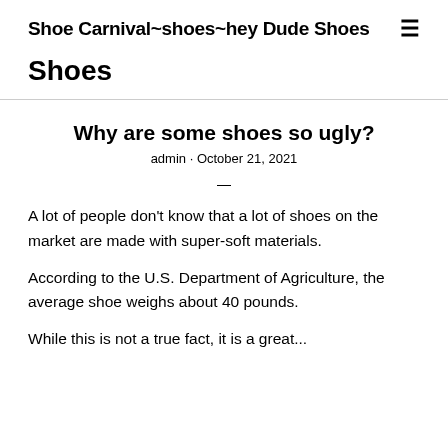Shoe Carnival~shoes~hey Dude Shoes
Shoes
Why are some shoes so ugly?
admin · October 21, 2021
—
A lot of people don't know that a lot of shoes on the market are made with super-soft materials.
According to the U.S. Department of Agriculture, the average shoe weighs about 40 pounds.
While this is not a true fact, it is a great...